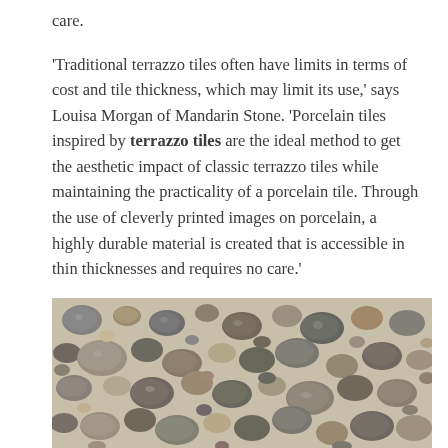care.
'Traditional terrazzo tiles often have limits in terms of cost and tile thickness, which may limit its use,' says Louisa Morgan of Mandarin Stone. 'Porcelain tiles inspired by terrazzo tiles are the ideal method to get the aesthetic impact of classic terrazzo tiles while maintaining the practicality of a porcelain tile. Through the use of cleverly printed images on porcelain, a highly durable material is created that is accessible in thin thicknesses and requires no care.'
[Figure (photo): Close-up photograph of terrazzo or pebble-aggregate surface showing numerous rounded stones of various sizes and colors (grey, brown, tan, white) set in a light grey cement/mortar base.]